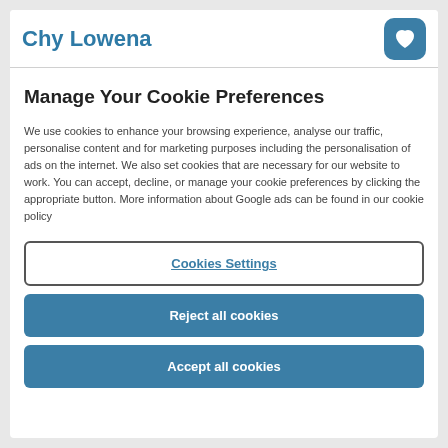Chy Lowena
Manage Your Cookie Preferences
We use cookies to enhance your browsing experience, analyse our traffic, personalise content and for marketing purposes including the personalisation of ads on the internet. We also set cookies that are necessary for our website to work. You can accept, decline, or manage your cookie preferences by clicking the appropriate button. More information about Google ads can be found in our cookie policy
Cookies Settings
Reject all cookies
Accept all cookies